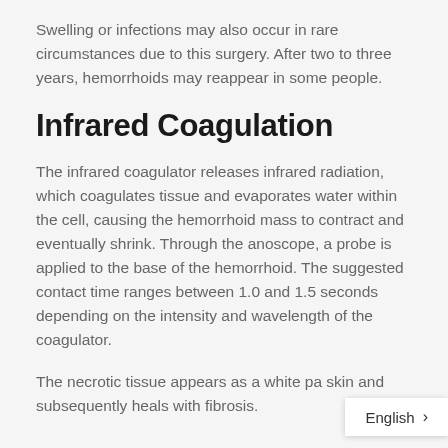Swelling or infections may also occur in rare circumstances due to this surgery. After two to three years, hemorrhoids may reappear in some people.
Infrared Coagulation
The infrared coagulator releases infrared radiation, which coagulates tissue and evaporates water within the cell, causing the hemorrhoid mass to contract and eventually shrink. Through the anoscope, a probe is applied to the base of the hemorrhoid. The suggested contact time ranges between 1.0 and 1.5 seconds depending on the intensity and wavelength of the coagulator.
The necrotic tissue appears as a white pa skin and subsequently heals with fibrosis.